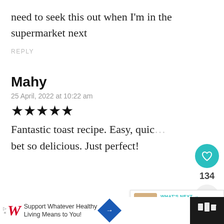need to seek this out when I'm in the supermarket next
REPLY
Mahy
25 April, 2022 at 10:22 am
★★★★★
Fantastic toast recipe. Easy, quic… bet so delicious. Just perfect!
[Figure (infographic): Heart/like button (teal circle with heart icon), like count 134, share button]
[Figure (infographic): What's Next banner with food image thumbnail, label 'WHAT'S NEXT ->', text 'Kachumbari (Kenyan...']
[Figure (infographic): Bottom advertisement bar: Walgreens logo, 'Support Whatever Healthy Living Means to You!' text, blue diamond arrow, dark right panel with TV/streaming icon]